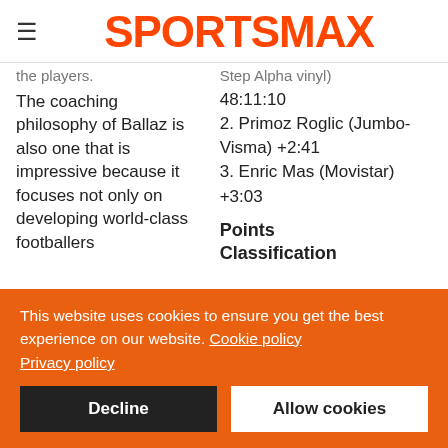SPORTSMAX
the players.
Step Alpha vinyl)
The coaching philosophy of Ballaz is also one that is impressive because it focuses not only on developing world-class footballers
48:11:10
2. Primoz Roglic (Jumbo-Visma) +2:41
3. Enric Mas (Movistar) +3:03
Points Classification
This website uses cookies to ensure you get the best experience on our website. Cookie policy
Privacy policy
Decline
Allow cookies